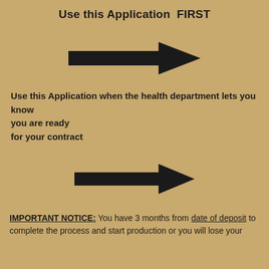Use this Application FIRST
[Figure (illustration): Large black right-pointing arrow centered on page]
Use this Application when the health department lets you know you are ready for your contract
[Figure (illustration): Large black right-pointing arrow centered on page]
IMPORTANT NOTICE: You have 3 months from date of deposit to complete the process and start production or you will lose your